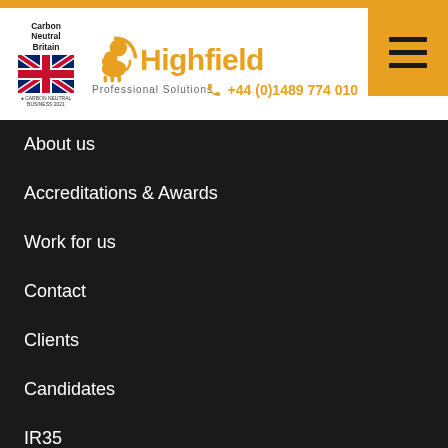[Figure (logo): Highfield Professional Solutions logo with lion icon in gold/amber color, alongside Carbon Neutral Britain badge with UK flag]
+44 (0)1489 774 010
About us
Accreditations & Awards
Work for us
Contact
Clients
Candidates
IR35
Media
Security Statement
Website privacy policy